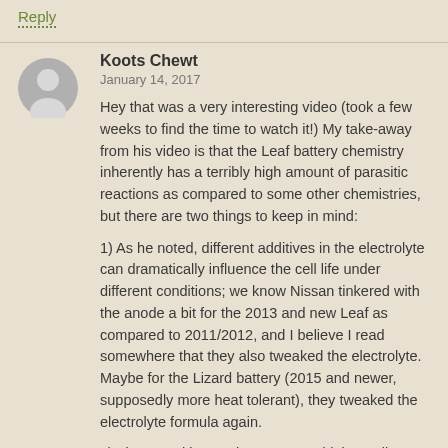Reply
Koots Chewt
January 14, 2017
Hey that was a very interesting video (took a few weeks to find the time to watch it!) My take-away from his video is that the Leaf battery chemistry inherently has a terribly high amount of parasitic reactions as compared to some other chemistries, but there are two things to keep in mind:
1) As he noted, different additives in the electrolyte can dramatically influence the cell life under different conditions; we know Nissan tinkered with the anode a bit for the 2013 and new Leaf as compared to 2011/2012, and I believe I read somewhere that they also tweaked the electrolyte. Maybe for the Lizard battery (2015 and newer, supposedly more heat tolerant), they tweaked the electrolyte formula again.
2) The parasitic reactions occur at higher cell voltage – the manufacturer helps this out somewhat by limiting the top end of charging to something less than the actual 100% the cell is capable of, but the purpose of that cutoff is